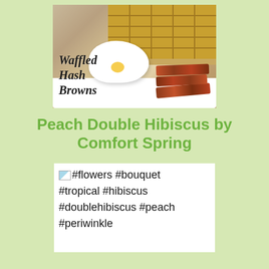[Figure (photo): Photo of waffled hash browns with a poached egg and bacon strips on a white plate, with text overlay reading 'Waffled Hash Browns' in cursive script]
Peach Double Hibiscus by Comfort Spring
[Figure (other): Small image placeholder icon followed by hashtag text: #flowers #bouquet #tropical #hibiscus #doublehibiscus #peach #periwinkle on white background]